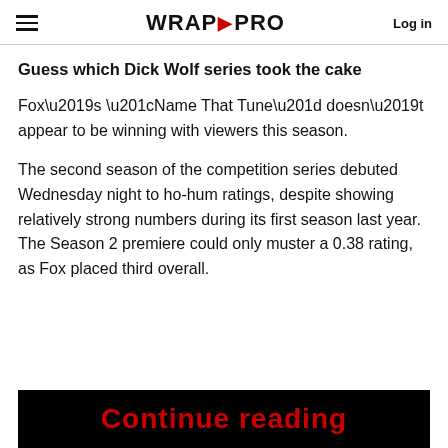WRAP PRO  Log in
Guess which Dick Wolf series took the cake
Fox’s “Name That Tune” doesn’t appear to be winning with viewers this season.
The second season of the competition series debuted Wednesday night to ho-hum ratings, despite showing relatively strong numbers during its first season last year. The Season 2 premiere could only muster a 0.38 rating, as Fox placed third overall.
[Figure (screenshot): Black banner with red bold text reading 'Continue reading' partially visible at the bottom of the page]